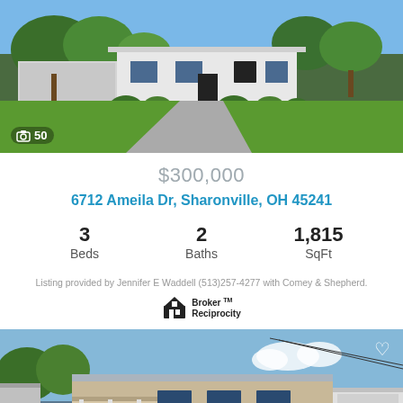[Figure (photo): Exterior front view of a single-story suburban house with green lawn, trees, and driveway. Photo counter shows 50 photos.]
$300,000
6712 Ameila Dr, Sharonville, OH 45241
3 Beds  2 Baths  1,815 SqFt
Listing provided by Jennifer E Waddell (513)257-4277 with Comey & Shepherd.
[Figure (logo): Broker Reciprocity logo with house icon]
[Figure (photo): Exterior front view of a brick ranch-style house with covered porch, white trim, and garage/outbuilding visible on right. Heart/favorite icon in top right.]